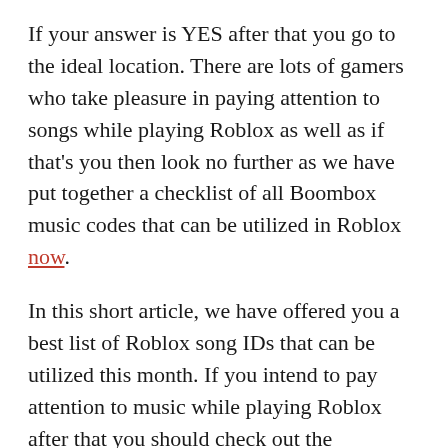If your answer is YES after that you go to the ideal location. There are lots of gamers who take pleasure in paying attention to songs while playing Roblox as well as if that's you then look no further as we have put together a checklist of all Boombox music codes that can be utilized in Roblox now.
In this short article, we have offered you a best list of Roblox song IDs that can be utilized this month. If you intend to pay attention to music while playing Roblox after that you should check out the complying with list of codes.
Looking for Roblox music codes? There are thousands of pop music available to pay attention to in Roblox,